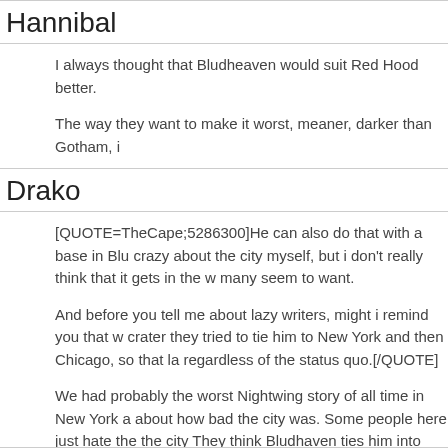Hannibal
I always thought that Bludheaven would suit Red Hood better.
The way they want to make it worst, meaner, darker than Gotham, i
Drako
[QUOTE=TheCape;5286300]He can also do that with a base in Blu crazy about the city myself, but i don't really think that it gets in the w many seem to want.
And before you tell me about lazy writers, might i remind you that w crater they tried to tie him to New York and then Chicago, so that la regardless of the status quo.[/QUOTE]
We had probably the worst Nightwing story of all time in New York a about how bad the city was. Some people here just hate the the city They think Bludhaven ties him into one place, when Seeley already did both city staying and globetrotting stories.